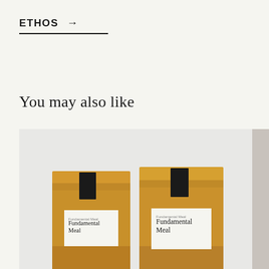ETHOS →
You may also like
[Figure (photo): Two kraft paper bags labeled 'Fundamental Meal' with black folded-top closures, on a light grey background. A second image partially visible at the right edge.]